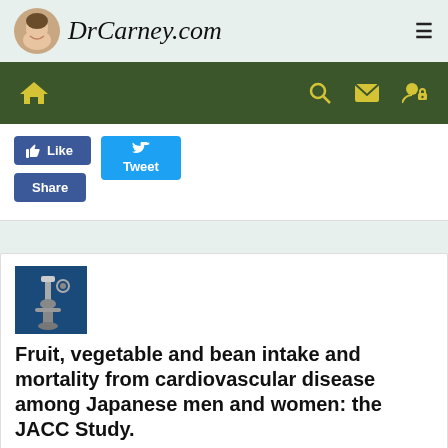DrCarney.com
[Figure (screenshot): Navigation bar with home, search, mail, and user icons on dark green background]
[Figure (screenshot): Facebook Like and Share buttons, Twitter Tweet button]
[Figure (photo): Microscope thumbnail image]
Fruit, vegetable and bean intake and mortality from cardiovascular disease among Japanese men and women: the JACC Study.
April 30, 2017
Research Summaries
Cardiovascular Disease, Beans & Legumes, Fruits, Vegetables,